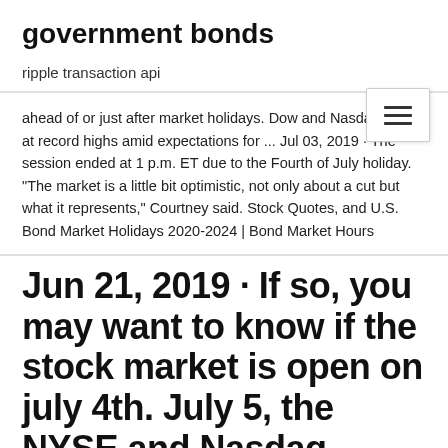government bonds
ripple transaction api
ahead of or just after market holidays. Dow and Nasdaq close at record highs amid expectations for ... Jul 03, 2019 · The session ended at 1 p.m. ET due to the Fourth of July holiday. "The market is a little bit optimistic, not only about a cut but what it represents," Courtney said. Stock Quotes, and U.S. Bond Market Holidays 2020-2024 | Bond Market Hours
Jun 21, 2019 · If so, you may want to know if the stock market is open on july 4th. July 5, the NYSE and Nasdaq resume their